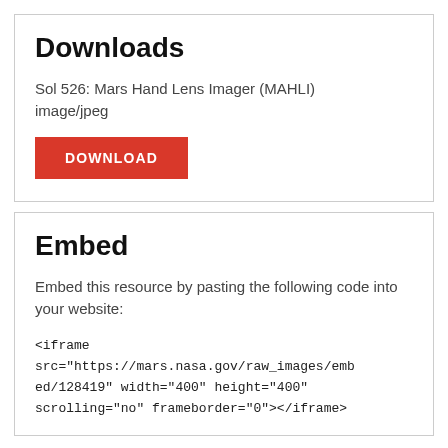Downloads
Sol 526: Mars Hand Lens Imager (MAHLI) image/jpeg
[Figure (other): Red DOWNLOAD button]
Embed
Embed this resource by pasting the following code into your website:
<iframe src="https://mars.nasa.gov/raw_images/embed/128419" width="400" height="400" scrolling="no" frameborder="0"></iframe>